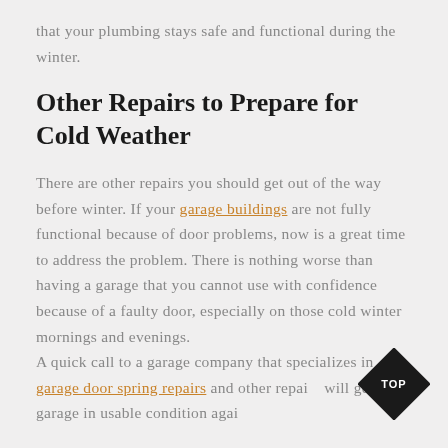that your plumbing stays safe and functional during the winter.
Other Repairs to Prepare for Cold Weather
There are other repairs you should get out of the way before winter. If your garage buildings are not fully functional because of door problems, now is a great time to address the problem. There is nothing worse than having a garage that you cannot use with confidence because of a faulty door, especially on those cold winter mornings and evenings.
A quick call to a garage company that specializes in garage door spring repairs and other repairs will get your garage in usable condition again. How much easier will it be to pull right in...